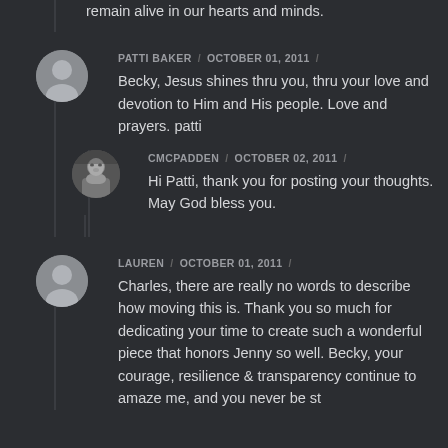remain alive in our hearts and minds.
PATTI BAKER / OCTOBER 01, 2011 /
Becky, Jesus shines thru you, thru your love and devotion to Him and His people. Love and prayers. patti
CMCPADDEN / OCTOBER 02, 2011 /
Hi Patti, thank you for posting your thoughts. May God bless you.
LAUREN / OCTOBER 01, 2011 /
Charles, there are really no words to describe how moving this is. Thank you so much for dedicating your time to create such a wonderful piece that honors Jenny so well. Becky, your courage, resilience & transparency continue to amaze me, and you never be st